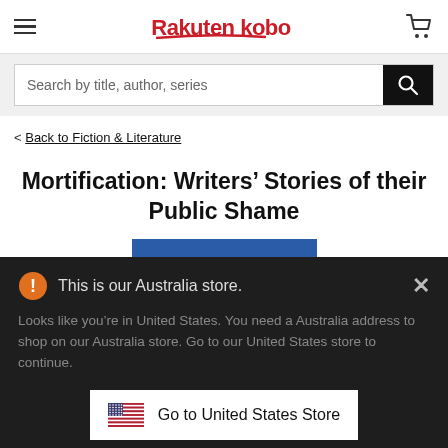Rakuten kobo
Search by title, author, series
< Back to Fiction & Literature
Mortification: Writers' Stories of their Public Shame
This is our Australia store.
Looks like you're in United States. You need a Australia address to shop on our Australia store. Go to our United States store to continue.
Go to United States Store
Choose another store